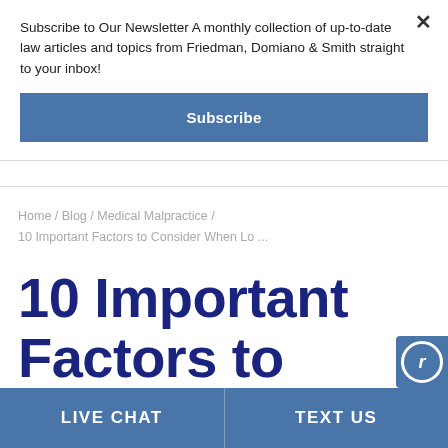Subscribe to Our Newsletter A monthly collection of up-to-date law articles and topics from Friedman, Domiano & Smith straight to your inbox!
Subscribe
Home / Blog / Medical Malpractice / 10 Important Factors to Consider When Lo ...
10 Important Factors to Consider When Looking For a
LIVE CHAT
TEXT US